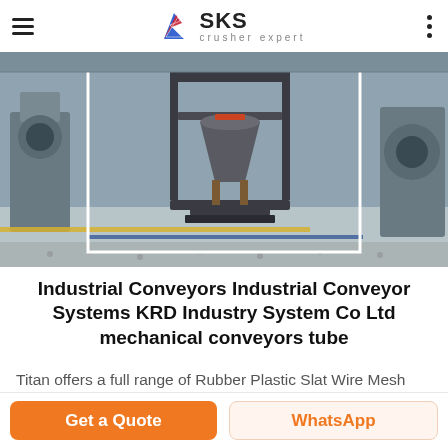SKS crusher expert
[Figure (photo): Industrial crusher/conveyor machine (cone crusher) on a factory floor with gravel, yellow and blue floor markings, white bounding box overlay, and industrial equipment in the background.]
Industrial Conveyors Industrial Conveyor Systems KRD Industry System Co Ltd mechanical conveyors tube
Titan offers a full range of Rubber Plastic Slat Wire Mesh Chain Belt and Roller Conveyors for unit handling and bulk handling in